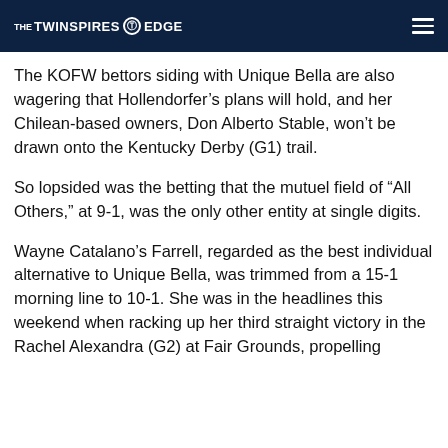THE TWINSPIRES EDGE
The KOFW bettors siding with Unique Bella are also wagering that Hollendorfer’s plans will hold, and her Chilean-based owners, Don Alberto Stable, won’t be drawn onto the Kentucky Derby (G1) trail.
So lopsided was the betting that the mutuel field of “All Others,” at 9-1, was the only other entity at single digits.
Wayne Catalano’s Farrell, regarded as the best individual alternative to Unique Bella, was trimmed from a 15-1 morning line to 10-1. She was in the headlines this weekend when racking up her third straight victory in the Rachel Alexandra (G2) at Fair Grounds, propelling